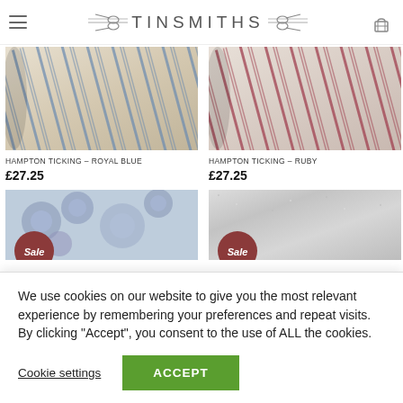TINSMITHS
[Figure (photo): Close-up of Hampton Ticking Royal Blue striped fabric rolled up]
[Figure (photo): Close-up of Hampton Ticking Ruby striped fabric rolled up]
HAMPTON TICKING – ROYAL BLUE
£27.25
HAMPTON TICKING – RUBY
£27.25
[Figure (photo): Blue floral pattern fabric with Sale badge]
[Figure (photo): Silver/grey textured fabric with Sale badge]
We use cookies on our website to give you the most relevant experience by remembering your preferences and repeat visits. By clicking "Accept", you consent to the use of ALL the cookies.
Cookie settings
ACCEPT